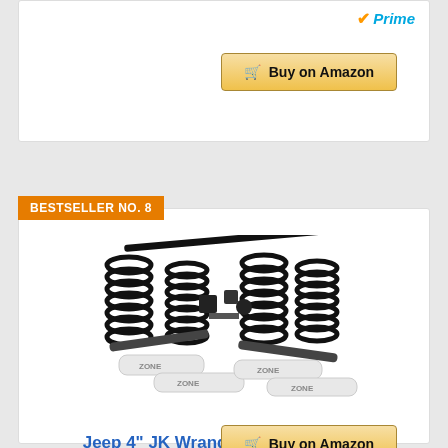[Figure (screenshot): Amazon Prime badge with blue and orange checkmark]
Buy on Amazon
BESTSELLER NO. 8
[Figure (photo): Jeep 4 inch JK Wrangler Unlimited full suspension lift kit with black Nitro shocks and coil springs]
Jeep 4" JK Wrangler Unlimited Full Suspension Lift kit Zone Offroad 4 Door w/Black Nitro Shocks
Buy on Amazon